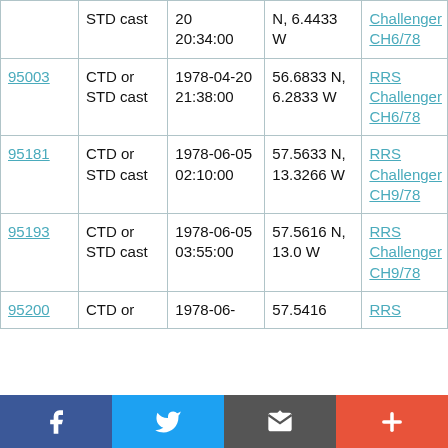| ID | Type | Date/Time | Location | Cruise |
| --- | --- | --- | --- | --- |
|  | CTD or STD cast | 20
20:34:00 | N, 6.4433 W | RRS Challenger CH6/78 |
| 95003 | CTD or STD cast | 1978-04-20
21:38:00 | 56.6833 N, 6.2833 W | RRS Challenger CH6/78 |
| 95181 | CTD or STD cast | 1978-06-05
02:10:00 | 57.5633 N, 13.3266 W | RRS Challenger CH9/78 |
| 95193 | CTD or STD cast | 1978-06-05
03:55:00 | 57.5616 N, 13.0 W | RRS Challenger CH9/78 |
| 95200 | CTD or | 1978-06- | 57.5416 | RRS |